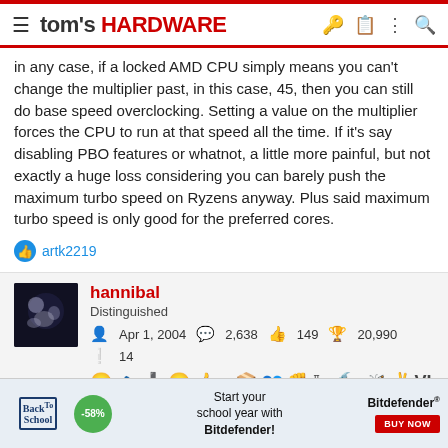tom's HARDWARE
in any case, if a locked AMD CPU simply means you can't change the multiplier past, in this case, 45, then you can still do base speed overclocking. Setting a value on the multiplier forces the CPU to run at that speed all the time. If it's say disabling PBO features or whatnot, a little more painful, but not exactly a huge loss considering you can barely push the maximum turbo speed on Ryzens anyway. Plus said maximum turbo speed is only good for the preferred cores.
artk2219
hannibal
Distinguished
Apr 1, 2004  2,638  149  20,990
14